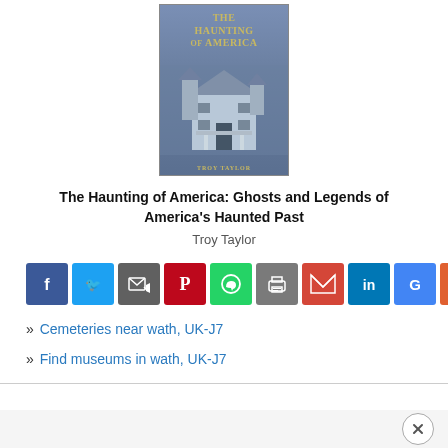[Figure (illustration): Book cover of 'The Haunting of America' by Troy Taylor, showing a Victorian house with the title in golden letters on a blue-grey background.]
The Haunting of America: Ghosts and Legends of America's Haunted Past
Troy Taylor
[Figure (infographic): Row of social media share buttons: Facebook, Twitter, Email/Share, Pinterest, WhatsApp, Print, Gmail, LinkedIn, Google, More (+)]
» Cemeteries near wath, UK-J7
» Find museums in wath, UK-J7